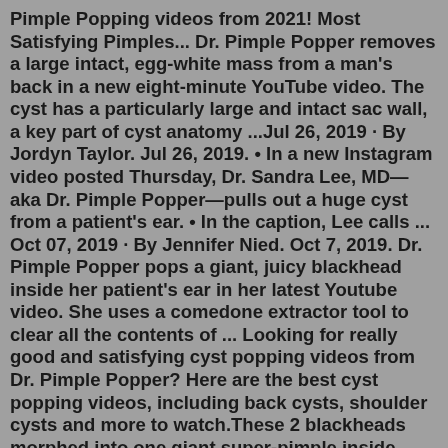Pimple Popping videos from 2021! Most Satisfying Pimples... Dr. Pimple Popper removes a large intact, egg-white mass from a man's back in a new eight-minute YouTube video. The cyst has a particularly large and intact sac wall, a key part of cyst anatomy ...Jul 26, 2019 · By Jordyn Taylor. Jul 26, 2019. • In a new Instagram video posted Thursday, Dr. Sandra Lee, MD—aka Dr. Pimple Popper—pulls out a huge cyst from a patient's ear. • In the caption, Lee calls ... Oct 07, 2019 · By Jennifer Nied. Oct 7, 2019. Dr. Pimple Popper pops a giant, juicy blackhead inside her patient's ear in her latest Youtube video. She uses a comedone extractor tool to clear all the contents of ... Looking for really good and satisfying cyst popping videos from Dr. Pimple Popper? Here are the best cyst popping videos, including back cysts, shoulder cysts and more to watch.These 2 blackheads morphed into one giant super-pimple inside someone's ear. These are some gnarly blackheads. A blackhead popping video is making the rounds on Reddit. It shows the extraction of two blackheads inside...